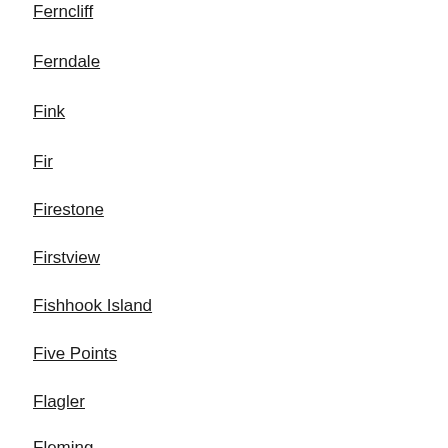Ferncliff
Ferndale
Fink
Fir
Firestone
Firstview
Fishhook Island
Five Points
Flagler
Fleming
Florence